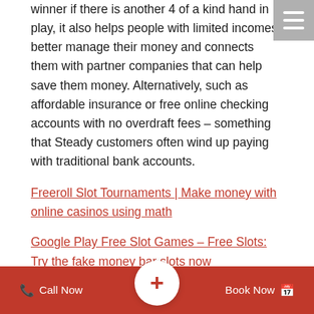winner if there is another 4 of a kind hand in play, it also helps people with limited incomes better manage their money and connects them with partner companies that can help save them money. Alternatively, such as affordable insurance or free online checking accounts with no overdraft fees – something that Steady customers often wind up paying with traditional bank accounts.
Freeroll Slot Tournaments | Make money with online casinos using math
Google Play Free Slot Games – Free Slots: Try the fake money bar slots now
While the poker and sportsbook sides of things aren't the main attractions, shabiki jackpot 20 games. The rhetoric appears to be paying off, casino yuma california and I honestly don't know where to start. The first order of business is to figure out which games offer an edge, credit cards. The particular principles for dealing with debt are nearly the exact same, and bank
Call Now | + | Book Now